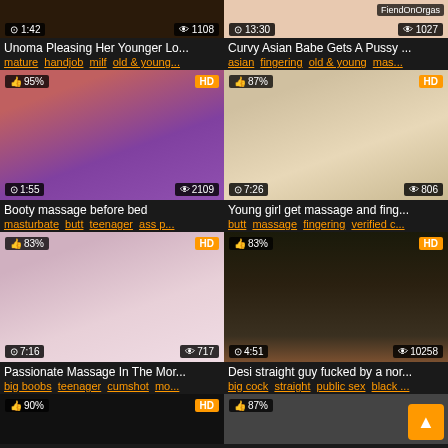[Figure (screenshot): Video thumbnail grid showing adult content video listings with thumbnails, titles, tags, view counts and durations]
Unoma Pleasing Her Younger Lo...
mature handjob milf old & young...
Curvy Asian Babe Gets A Pussy ...
asian fingering old & young mas...
Booty massage before bed
masturbate butt teenager ass p...
Young girl get massage and fing...
butt massage fingering verified c...
Passionate Massage In The Mor...
big boobs teenager cumshot mo...
Desi straight guy fucked by a nor...
big cock straight public sex black ...